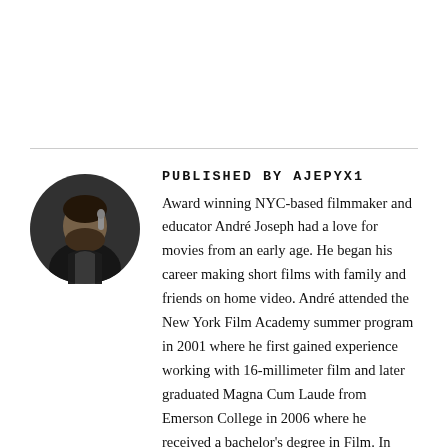[Figure (photo): Circular avatar photo of André Joseph, a man holding a microphone at an event, dark background.]
PUBLISHED BY AJEPYX1
Award winning NYC-based filmmaker and educator André Joseph had a love for movies from an early age. He began his career making short films with family and friends on home video. André attended the New York Film Academy summer program in 2001 where he first gained experience working with 16-millimeter film and later graduated Magna Cum Laude from Emerson College in 2006 where he received a bachelor's degree in Film. In 2008, André formed his own indie film production company, AJ Enyx